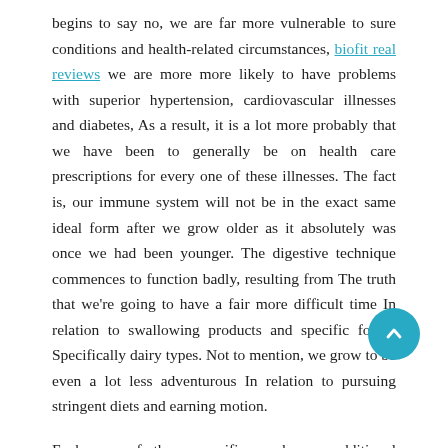begins to say no, we are far more vulnerable to sure conditions and health-related circumstances, biofit real reviews we are more more likely to have problems with superior hypertension, cardiovascular illnesses and diabetes, As a result, it is a lot more probably that we have been to generally be on health care prescriptions for every one of these illnesses. The fact is, our immune system will not be in the exact same ideal form after we grow older as it absolutely was once we had been younger. The digestive technique commences to function badly, resulting from The truth that we're going to have a fair more difficult time In relation to swallowing products and specific foods, Specifically dairy types. Not to mention, we grow to be even a lot less adventurous In relation to pursuing stringent diets and earning motion.
Each one of these specifics make us additional vulnerable from the deal with of health issues, and as a consequence, a safer way ameliorate all of these could well be if we begin to consider probiotics so as to alleviate our body proper functionality. Probiotics, possibly purely natural or nutritional supplements, tested for being a trusted supply of health and fitness, In particular when it comes to persons age 50 or older. Considering that their overall health is susceptible to decline, they should be the ones